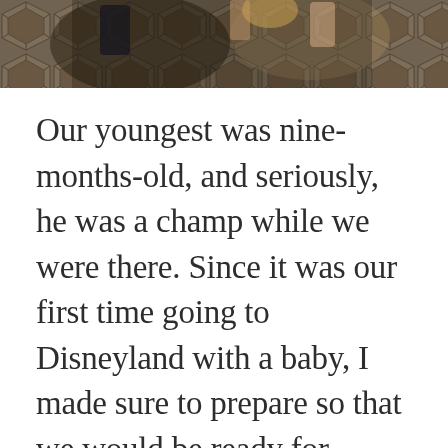[Figure (photo): Top portion of a photo showing people on a decorative geometric tile floor, partially cropped at the top of the page]
Our youngest was nine-months-old, and seriously, he was a champ while we were there. Since it was our first time going to Disneyland with a baby, I made sure to prepare so that we would be ready for anything! Traveling with a baby can be hard